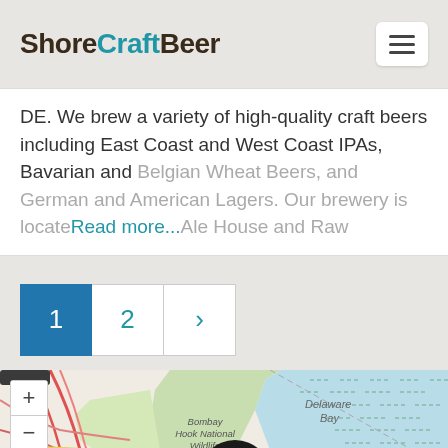ShoreCraftBeer
DE. We brew a variety of high-quality craft beers including East Coast and West Coast IPAs, Bavarian and Belgian Wheat Beers, and German and American Lagers. Our brewery is located ... Ale House and Raw  Read more...
1  2  >
[Figure (map): OpenStreetMap showing Delaware Bay area with Bombay Hook National Wildlife Refuge labeled. Map includes zoom controls (+/-) and fullscreen button. A large black map pin marker is visible. Roads shown in red and pink lines.]